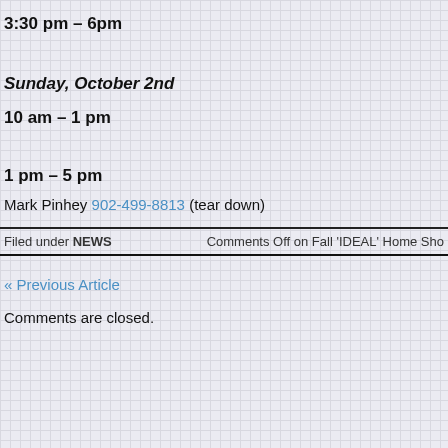3:30 pm – 6pm
Sunday, October 2nd
10 am – 1 pm
1 pm – 5 pm
Mark Pinhey 902-499-8813 (tear down)
Filed under NEWS    Comments Off on Fall 'IDEAL' Home Sho
« Previous Article
Comments are closed.